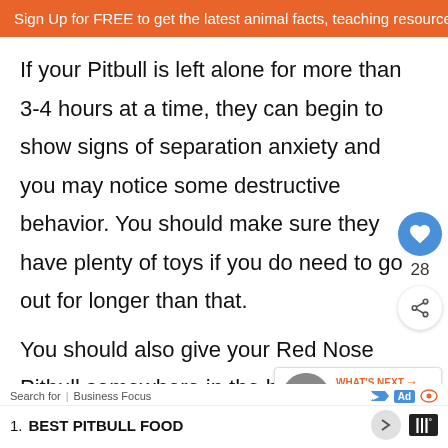Sign Up for FREE to get the latest animal facts, teaching resource
If your Pitbull is left alone for more than 3-4 hours at a time, they can begin to show signs of separation anxiety and you may notice some destructive behavior. You should make sure they have plenty of toys if you do need to go out for longer than that.
You should also give your Red Nose Pitbull somewhere in the house that is just the great for when they feel overwhelmed and need so
[Figure (screenshot): Like button (heart icon) with count 28 and share icon]
[Figure (screenshot): What's Next widget showing Blue Nose Pitbull article thumbnail]
Search for | Business Focus — Ad — 1. BEST PITBULL FOOD